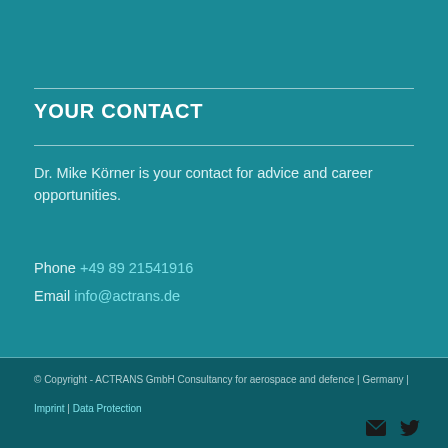YOUR CONTACT
Dr. Mike Körner is your contact for advice and career opportunities.
Phone +49 89 21541916
Email info@actrans.de
© Copyright - ACTRANS GmbH Consultancy for aerospace and defence | Germany |
Imprint | Data Protection